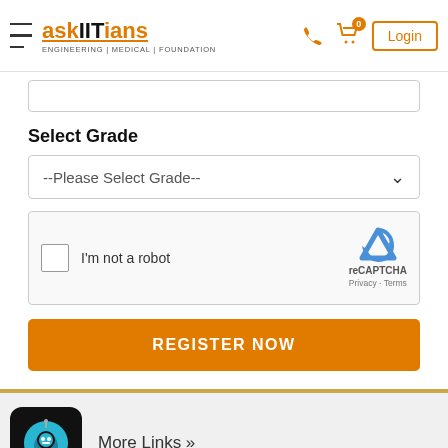[Figure (logo): askIITians logo with hamburger menu icon on the left, phone and cart icons on the right, Login button]
[Figure (screenshot): Partial input bar at top of form]
Select Grade
[Figure (screenshot): Dropdown selector showing '--Please Select Grade--']
[Figure (screenshot): reCAPTCHA widget with checkbox 'I'm not a robot', Google reCAPTCHA logo, Privacy and Terms links]
[Figure (screenshot): REGISTER NOW orange button]
[Figure (screenshot): Chatbot icon (black square with blue circle robot face)]
More Links »
About us  |  Blog  |  Media Coverage  |  School Tie-up  |  Franchisee  |  RD Sharma Solutions  |  Tutor log in